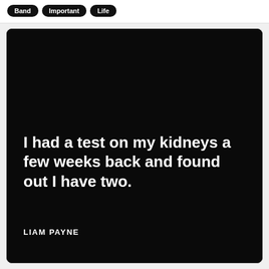Band
Important
Life
[Figure (illustration): Black background image card with bold white quote text and attribution to Liam Payne]
I had a test on my kidneys a few weeks back and found out I have two.
LIAM PAYNE